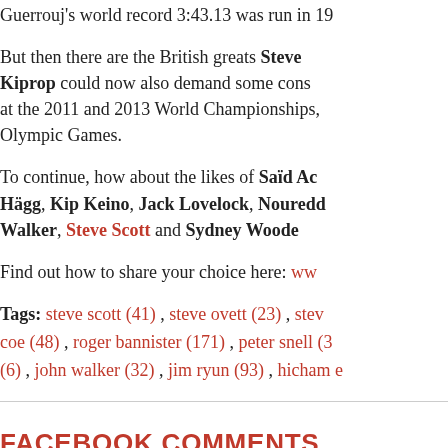Guerrouj's world record 3:43.13 was run in 19…
But then there are the British greats Steve… Kiprop could now also demand some cons… at the 2011 and 2013 World Championships,… Olympic Games.
To continue, how about the likes of Saïd Ac… Hägg, Kip Keino, Jack Lovelock, Nouredd… Walker, Steve Scott and Sydney Woode…
Find out how to share your choice here: ww…
Tags: steve scott (41) , steve ovett (23) , stev… coe (48) , roger bannister (171) , peter snell (3… (6) , john walker (32) , jim ryun (93) , hicham e…
FACEBOOK COMMENTS